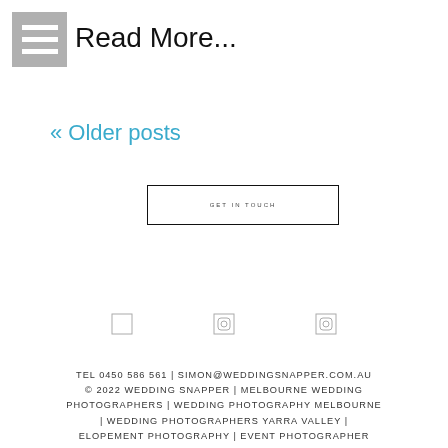[Figure (other): Hamburger/menu icon — three horizontal white bars on a grey square background]
Read More...
« Older posts
[Figure (other): Button with border reading GET IN TOUCH in small caps]
[Figure (other): Three small social media icon placeholders (Facebook, Instagram, etc.) shown as small square outlines]
TEL 0450 586 561 | SIMON@WEDDINGSNAPPER.COM.AU © 2022 WEDDING SNAPPER | MELBOURNE WEDDING PHOTOGRAPHERS | WEDDING PHOTOGRAPHY MELBOURNE | WEDDING PHOTOGRAPHERS YARRA VALLEY | ELOPEMENT PHOTOGRAPHY | EVENT PHOTOGRAPHER